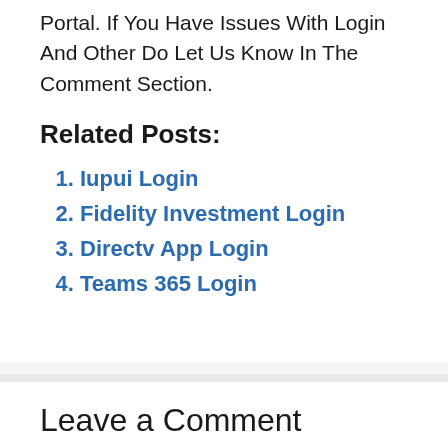Portal. If You Have Issues With Login And Other Do Let Us Know In The Comment Section.
Related Posts:
Iupui Login
Fidelity Investment Login
Directv App Login
Teams 365 Login
Leave a Comment
You must be logged in to post a